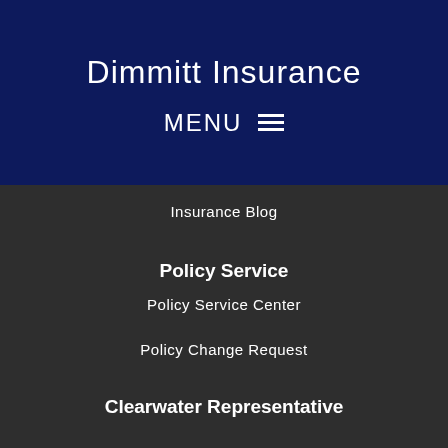Dimmitt Insurance
MENU ☰
Insurance Blog
Policy Service
Policy Service Center
Policy Change Request
Clearwater Representative